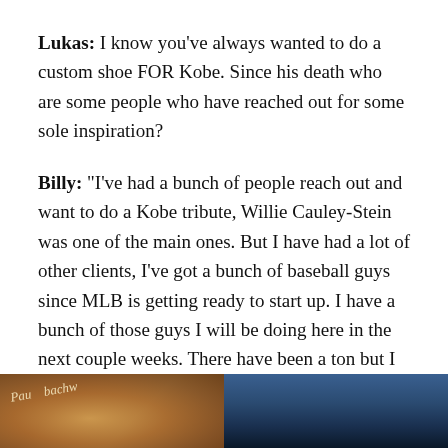Lukas: I know you've always wanted to do a custom shoe FOR Kobe. Since his death who are some people who have reached out for some sole inspiration?
Billy: “I’ve had a bunch of people reach out and want to do a Kobe tribute, Willie Cauley-Stein was one of the main ones. But I have had a lot of other clients, I’ve got a bunch of baseball guys since MLB is getting ready to start up. I have a bunch of those guys I will be doing here in the next couple weeks. There have been a ton but I am not really taking a whole bunch of them because I just don’t feel right so I am actually taking so money from that and donating the money to the MambaOn 3 Fund”
[Figure (photo): Two partial images side by side at the bottom of the page: left image shows a person with cursive/script text overlay, right image shows a blue-toned photograph.]